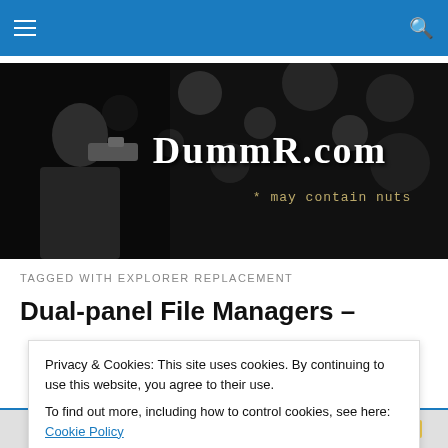Navigation bar with hamburger menu and search icon
[Figure (illustration): DummR.com website banner: dark background with man on left, stylized text 'DummR.com' and subtitle '* may contain nuts']
TAGGED WITH EXPLORER REPLACEMENT
Dual-panel File Managers –
Privacy & Cookies: This site uses cookies. By continuing to use this website, you agree to their use.
To find out more, including how to control cookies, see here: Cookie Policy
Close and accept
[Figure (illustration): Bottom strip showing blue badge, 'SIDE BY SIDE' text, and yellow badge]